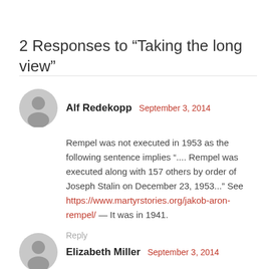2 Responses to “Taking the long view”
Alf Redekopp   September 3, 2014
Rempel was not executed in 1953 as the following sentence implies “.... Rempel was executed along with 157 others by order of Joseph Stalin on December 23, 1953...” See https://www.martyrstories.org/jakob-aron-rempel/ — It was in 1941.
Reply
Elizabeth Miller   September 3, 2014